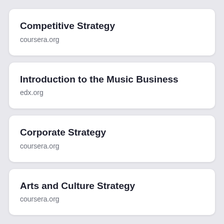Competitive Strategy
coursera.org
Introduction to the Music Business
edx.org
Corporate Strategy
coursera.org
Arts and Culture Strategy
coursera.org